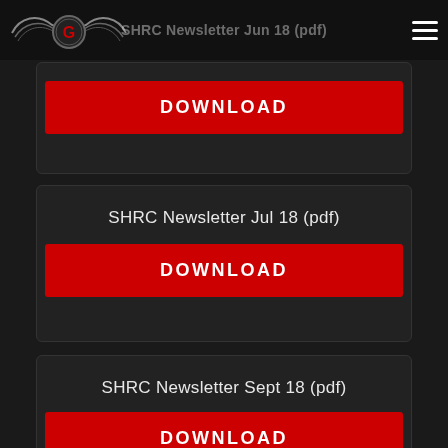SHRC Newsletter Jun 18 (pdf)
Download
SHRC Newsletter Jul 18 (pdf)
Download
SHRC Newsletter Sept 18 (pdf)
Download